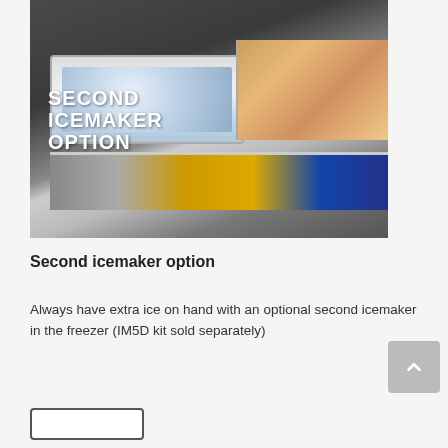[Figure (photo): Close-up photo of an open freezer drawer showing ice cubes in a bin/tray, frozen food items (shrimp/seafood visible), and a lower drawer with packaged foods. Text overlay reads 'SECOND ICEMAKER OPTION' in large white bold letters.]
Second icemaker option
Always have extra ice on hand with an optional second icemaker in the freezer (IM5D kit sold separately)